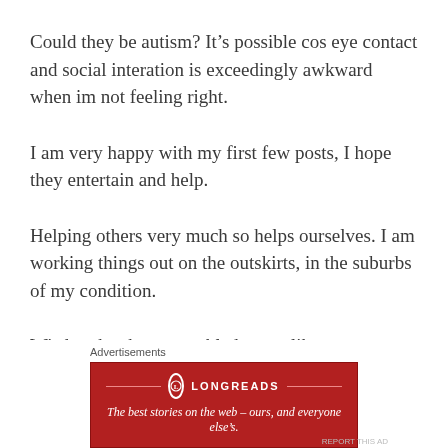Could they be autism? It’s possible cos eye contact and social interation is exceedingly awkward when im not feeling right.
I am very happy with my first few posts, I hope they entertain and help.
Helping others very much so helps ourselves. I am working things out on the outskirts, in the suburbs of my condition.
Wisdom has been stumbled upon, like acceptance I mentioned.
Advertisements
[Figure (infographic): Longreads advertisement banner: red background with Longreads logo and tagline 'The best stories on the web – ours, and everyone else’s.']